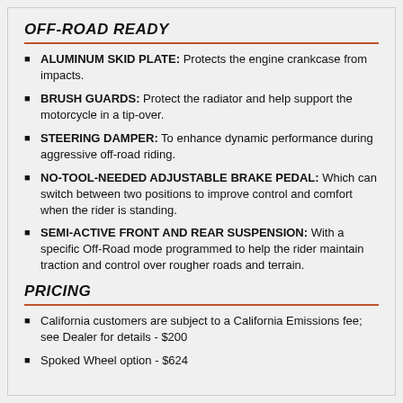OFF-ROAD READY
ALUMINUM SKID PLATE: Protects the engine crankcase from impacts.
BRUSH GUARDS: Protect the radiator and help support the motorcycle in a tip-over.
STEERING DAMPER: To enhance dynamic performance during aggressive off-road riding.
NO-TOOL-NEEDED ADJUSTABLE BRAKE PEDAL: Which can switch between two positions to improve control and comfort when the rider is standing.
SEMI-ACTIVE FRONT AND REAR SUSPENSION: With a specific Off-Road mode programmed to help the rider maintain traction and control over rougher roads and terrain.
PRICING
California customers are subject to a California Emissions fee; see Dealer for details - $200
Spoked Wheel option - $624